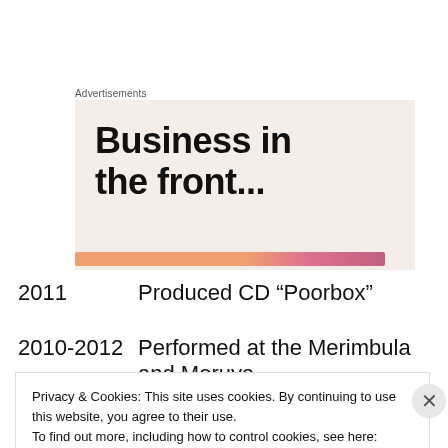Advertisements
[Figure (illustration): Advertisement banner with large bold text 'Business in the front...' on a light pink/beige background with a decorative orange-to-pink gradient stripe at the bottom]
2011	Produced CD “Poorbox”
2010-2012	Performed at the Merimbula and Moruya
Privacy & Cookies: This site uses cookies. By continuing to use this website, you agree to their use.
To find out more, including how to control cookies, see here: Cookie Policy
Close and accept